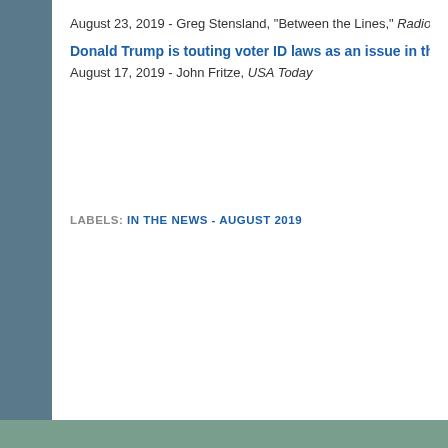August 23, 2019 - Greg Stensland, "Between the Lines," Radio Plus
Donald Trump is touting voter ID laws as an issue in the 2020 e
August 17, 2019 - John Fritze, USA Today
LABELS: IN THE NEWS - AUGUST 2019